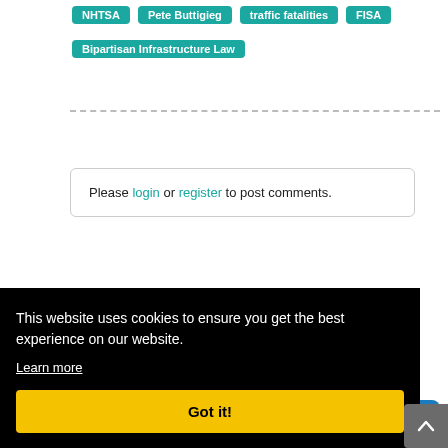NHTSA
Pete Buttigieg
traffic fatalities
FISA
Bipartisan Infrastructure Law
Please login or register to post comments.
[Figure (logo): ATSSA logo in white text on blue background]
This website uses cookies to ensure you get the best experience on our website. Learn more
Got it!